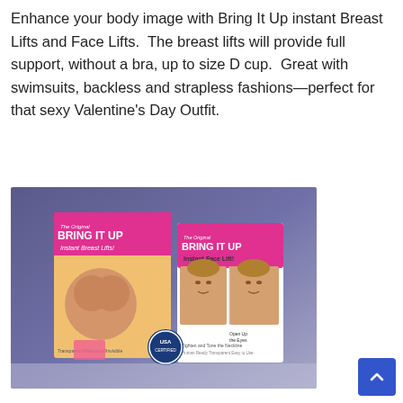Enhance your body image with Bring It Up instant Breast Lifts and Face Lifts. The breast lifts will provide full support, without a bra, up to size D cup. Great with swimsuits, backless and strapless fashions—perfect for that sexy Valentine's Day Outfit.
[Figure (photo): Product packaging photo showing two 'Bring It Up' product boxes against a purple/blue gradient background. Left box shows 'Bring It Up Instant Breast Lifts!' and right box shows 'Bring It Up Instant Face Lift!' with before/after images of a woman, and a 'Made in USA' seal badge in the center.]